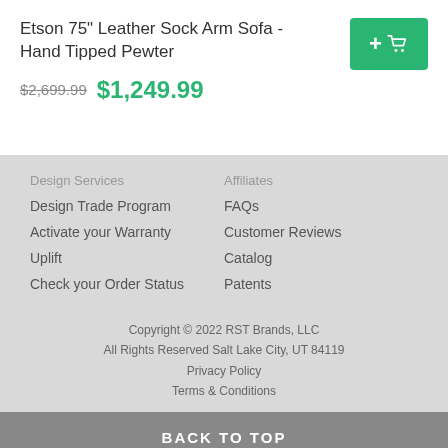Etson 75" Leather Sock Arm Sofa - Hand Tipped Pewter
$2,699.99  $1,249.99
Design Services
Design Trade Program
Activate your Warranty
Uplift
Check your Order Status
Affiliates
FAQs
Customer Reviews
Catalog
Patents
Copyright © 2022 RST Brands, LLC
All Rights Reserved Salt Lake City, UT 84119
Privacy Policy
Terms & Conditions
BACK TO TOP